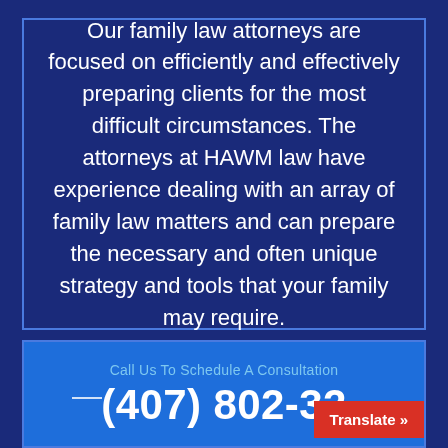Our family law attorneys are focused on efficiently and effectively preparing clients for the most difficult circumstances. The attorneys at HAWM law have experience dealing with an array of family law matters and can prepare the necessary and often unique strategy and tools that your family may require.
Call Us To Schedule A Consultation
(407) 802-32...